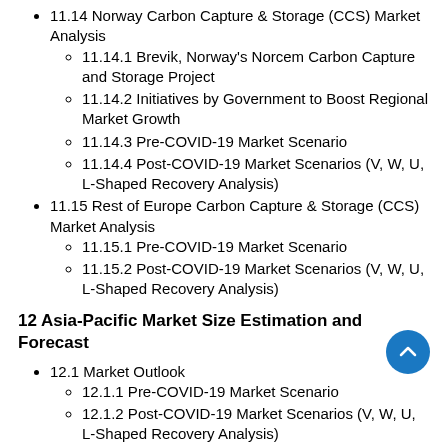11.14 Norway Carbon Capture & Storage (CCS) Market Analysis
11.14.1 Brevik, Norway's Norcem Carbon Capture and Storage Project
11.14.2 Initiatives by Government to Boost Regional Market Growth
11.14.3 Pre-COVID-19 Market Scenario
11.14.4 Post-COVID-19 Market Scenarios (V, W, U, L-Shaped Recovery Analysis)
11.15 Rest of Europe Carbon Capture & Storage (CCS) Market Analysis
11.15.1 Pre-COVID-19 Market Scenario
11.15.2 Post-COVID-19 Market Scenarios (V, W, U, L-Shaped Recovery Analysis)
12 Asia-Pacific Market Size Estimation and Forecast
12.1 Market Outlook
12.1.1 Pre-COVID-19 Market Scenario
12.1.2 Post-COVID-19 Market Scenarios (V, W, U, L-Shaped Recovery Analysis)